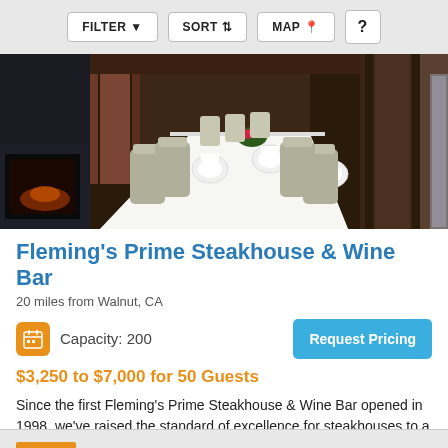FILTER  SORT  MAP  ?
[Figure (photo): Interior of a private dining room with a long white-tablecloth table set for a formal dinner, surrounded by grey upholstered chairs, with wood paneling walls and a fireplace visible on the left.]
Fleming's Prime Steakhouse & Wine Bar
20 miles from Walnut, CA
Capacity: 200
Request Pricing
$3,250 to $7,000 for 50 Guests
Since the first Fleming's Prime Steakhouse & Wine Bar opened in 1998, we've raised the standard of excellence for steakhouses to a whole new level, winning awards all over the country for
Restaurant/Bar/Pub